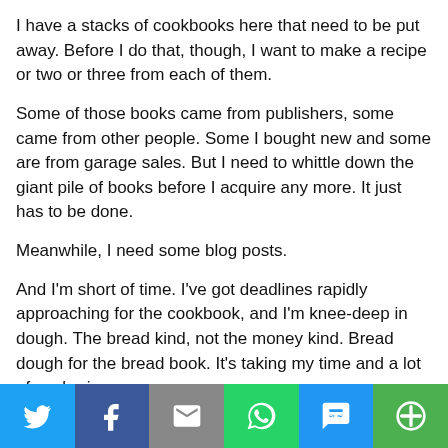I have a stacks of cookbooks here that need to be put away. Before I do that, though, I want to make a recipe or two or three from each of them.
Some of those books came from publishers, some came from other people. Some I bought new and some are from garage sales. But I need to whittle down the giant pile of books before I acquire any more. It just has to be done.
Meanwhile, I need some blog posts.
And I'm short of time. I've got deadlines rapidly approaching for the cookbook, and I'm knee-deep in dough. The bread kind, not the money kind. Bread dough for the bread book. It's taking my time and a lot of my brain power.
So ... it's easier and somewhat more reliable to adapt a cookbook recipe than it is to start from scratch and create a recipe. When I create a recipe, it's not always blogworthy. It
[Figure (infographic): Social share bar with six buttons: Twitter (blue bird icon), Facebook (blue f icon), Email (grey envelope icon), WhatsApp (green phone icon), SMS (blue SMS icon), More (green circular icon)]